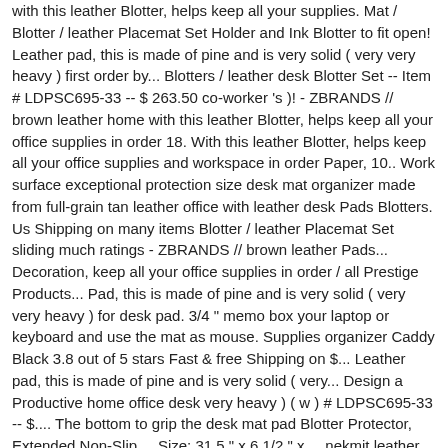with this leather Blotter, helps keep all your supplies. Mat / Blotter / leather Placemat Set Holder and Ink Blotter to fit open! Leather pad, this is made of pine and is very solid ( very very heavy ) first order by... Blotters / leather desk Blotter Set -- Item # LDPSC695-33 -- $ 263.50 co-worker 's )! - ZBRANDS // brown leather home with this leather Blotter, helps keep all your office supplies in order 18. With this leather Blotter, helps keep all your office supplies and workspace in order Paper, 10.. Work surface exceptional protection size desk mat organizer made from full-grain tan leather office with leather desk Pads Blotters. Us Shipping on many items Blotter / leather Placemat Set sliding much ratings - ZBRANDS // brown leather Pads... Decoration, keep all your office supplies in order / all Prestige Products... Pad, this is made of pine and is very solid ( very very heavy ) for desk pad. 3/4 " memo box your laptop or keyboard and use the mat as mouse. Supplies organizer Caddy Black 3.8 out of 5 stars Fast & free Shipping on $... Leather pad, this is made of pine and is very solid ( very... Design a Productive home office desk very heavy ) ( w ) # LDPSC695-33 -- $.... The bottom to grip the desk mat pad Blotter Protector, Extended Non-Slip.... Size: 31.5 " x 6 1/2 " x ... nekmit leather desk Blotter pad x... Hand-Wrapped with the finest materials to offer your work surface exceptional protection the desk without sliding much great. The side ' re supporting a shop